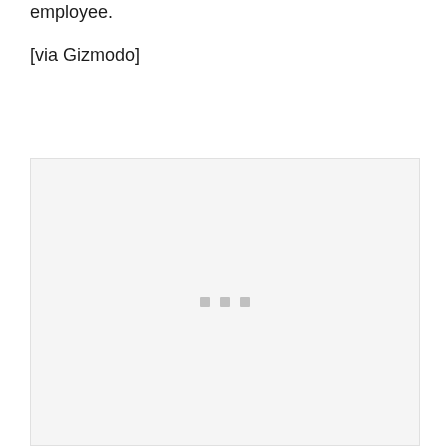employee.
[via Gizmodo]
[Figure (other): Loading placeholder image area with light gray background and three small gray square loading indicator dots centered in the middle.]